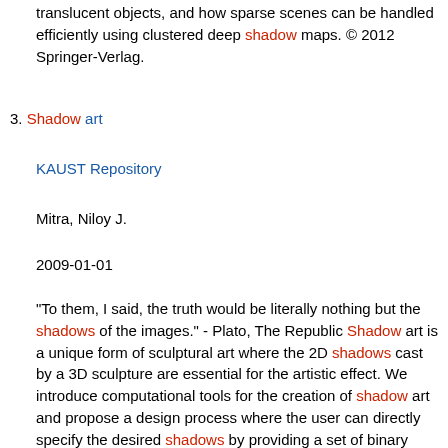translucent objects, and how sparse scenes can be handled efficiently using clustered deep shadow maps. © 2012 Springer-Verlag.
3. Shadow art
KAUST Repository
Mitra, Niloy J.
2009-01-01
"To them, I said, the truth would be literally nothing but the shadows of the images." - Plato, The Republic Shadow art is a unique form of sculptural art where the 2D shadows cast by a 3D sculpture are essential for the artistic effect. We introduce computational tools for the creation of shadow art and propose a design process where the user can directly specify the desired shadows by providing a set of binary images and corresponding projection information. Since multiple shadow images often contradict each other, we present a geometric optimization that computes a 3D shadow volume whose shadows best approximate the provided input images. Our analysis shows that this optimization is essential for obtaining physically realizable